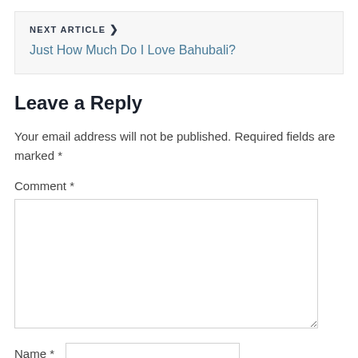NEXT ARTICLE ›
Just How Much Do I Love Bahubali?
Leave a Reply
Your email address will not be published. Required fields are marked *
Comment *
Name *